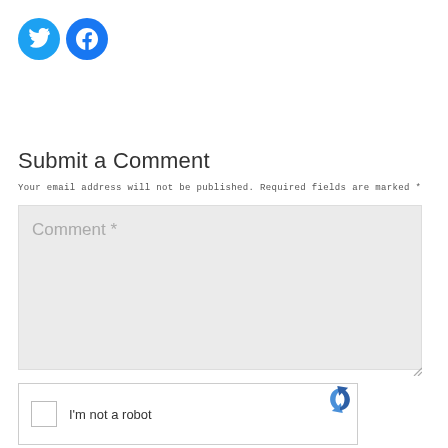[Figure (other): Social media icons: Twitter (blue bird) and Facebook (blue f) as circular buttons]
Submit a Comment
Your email address will not be published. Required fields are marked *
[Figure (other): Comment text area input field with placeholder text 'Comment *' on grey background]
[Figure (other): reCAPTCHA widget with checkbox, 'I'm not a robot' label, and reCAPTCHA logo]